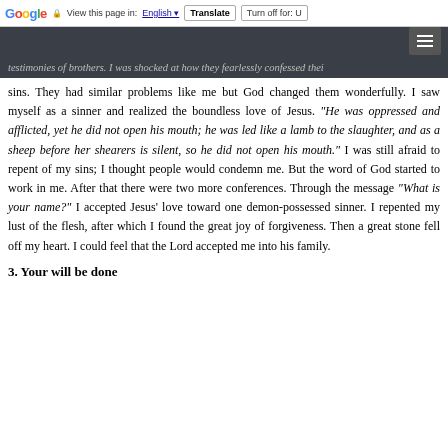Google  View this page in: English  Translate  Turn off for: U
testimonies of brothers. I was shocked at how they fearlessly confessed their sins. They had similar problems like me but God changed them wonderfully. I saw myself as a sinner and realized the boundless love of Jesus. "He was oppressed and afflicted, yet he did not open his mouth; he was led like a lamb to the slaughter, and as a sheep before her shearers is silent, so he did not open his mouth." I was still afraid to repent of my sins; I thought people would condemn me. But the word of God started to work in me. After that there were two more conferences. Through the message "What is your name?" I accepted Jesus' love toward one demon-possessed sinner. I repented my lust of the flesh, after which I found the great joy of forgiveness. Then a great stone fell off my heart. I could feel that the Lord accepted me into his family.
3. Your will be done